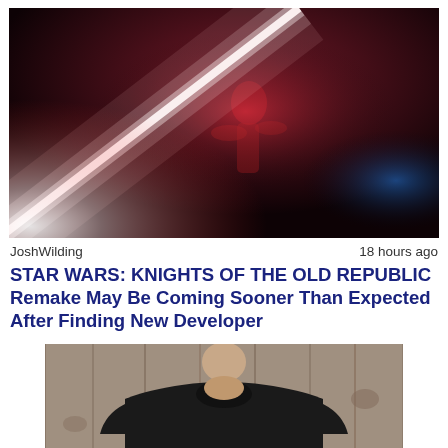[Figure (photo): Dark dramatic scene with glowing red and white lightsabers crossing, a blurred figure in red standing in a dark background with a hint of blue light at right.]
JoshWilding    18 hours ago
STAR WARS: KNIGHTS OF THE OLD REPUBLIC Remake May Be Coming Sooner Than Expected After Finding New Developer
[Figure (photo): A man wearing a black t-shirt standing in front of a wooden plank background, photo cropped at torso/neck level.]